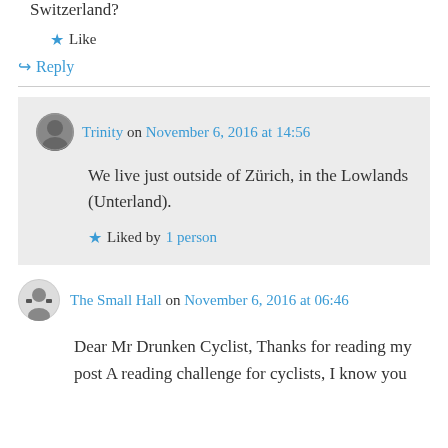Switzerland?
★ Like
↪ Reply
Trinity on November 6, 2016 at 14:56
We live just outside of Zürich, in the Lowlands (Unterland).
★ Liked by 1 person
The Small Hall on November 6, 2016 at 06:46
Dear Mr Drunken Cyclist, Thanks for reading my post A reading challenge for cyclists, I know you